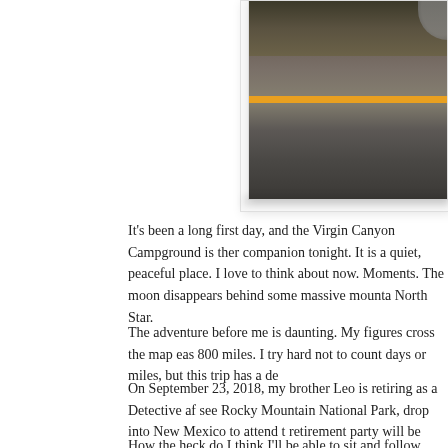[Figure (photo): Partial view of a road with yellow center line and roadside vegetation, appears to be a motorcycle travel blog photo. Right half of image visible, showing asphalt road with orange/yellow center stripe and brown scrubby vegetation at top.]
It's been a long first day, and the Virgin Canyon Campground is ther companion tonight. It is a quiet, peaceful place. I love to think about now. Moments. The moon disappears behind some massive mounta North Star.
The adventure before me is daunting. My figures cross the map eas 800 miles. I try hard not to count days or miles, but this trip has a de
On September 23, 2018, my brother Leo is retiring as a Detective af see Rocky Mountain National Park, drop into New Mexico to attend t retirement party will be held."
How the heck do I think I'll be able to sit and follow either a horse or F...